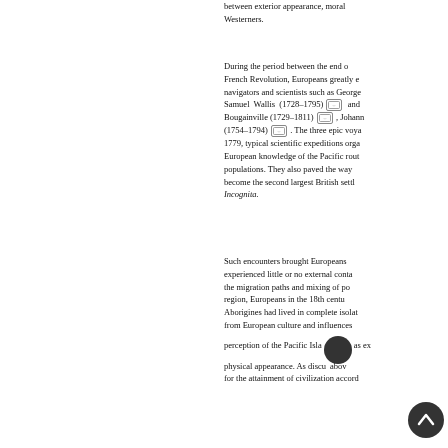between exterior appearance, moral Westerners.
During the period between the end of French Revolution, Europeans greatly e navigators and scientists such as George Samuel Wallis (1728–1795) and Bougainville (1729–1811), Johann (1754–1794). The three epic voya 1779, typical scientific expeditions orga European knowledge of the Pacific rout populations. They also paved the way become the second largest British settl Incognita.
Such encounters brought Europeans experienced little or no external conta the migration paths and mixing of po region, Europeans in the 18th centu Aborigines had lived in complete isolat from European culture and influences perception of the Pacific Isla as ex physical appearance. As discu abov for the attainment of civilization accord